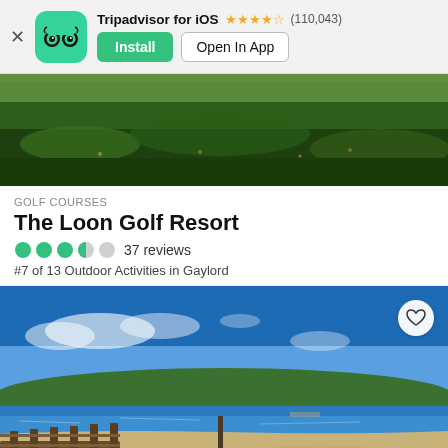[Figure (screenshot): Tripadvisor app banner with logo, Install and Open In App buttons]
[Figure (photo): Wide panoramic photo of a green golf course lawn]
GOLF COURSES
The Loon Golf Resort
3.5 stars  37 reviews
#7 of 13 Outdoor Activities in Gaylord
[Figure (photo): Beach and lake scene with dock, sandy shore, blue sky and tree line in background, with heart/favorite button overlay]